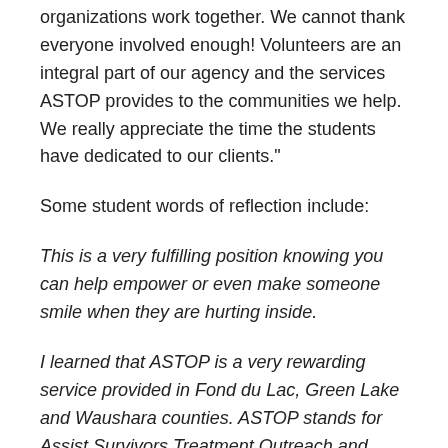organizations work together. We cannot thank everyone involved enough! Volunteers are an integral part of our agency and the services ASTOP provides to the communities we help. We really appreciate the time the students have dedicated to our clients."
Some student words of reflection include:
This is a very fulfilling position knowing you can help empower or even make someone smile when they are hurting inside.
I learned that ASTOP is a very rewarding service provided in Fond du Lac, Green Lake and Waushara counties. ASTOP stands for Assist Survivors Treatment Outreach and Prevention. They have extensive training for staff to support survivors and the affected family members. The attorneys, doctors,